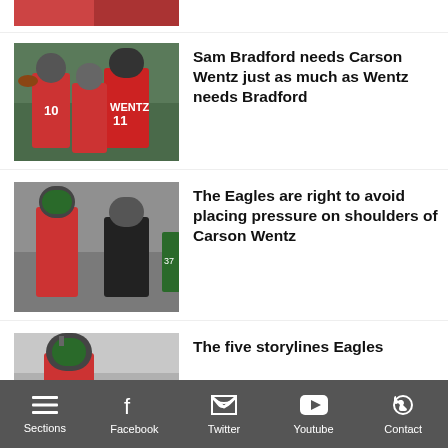[Figure (photo): Partial view of football players in red jerseys, cropped at top]
[Figure (photo): Two Philadelphia Eagles quarterbacks in red practice jerseys, numbers 10 and 11, with another player]
Sam Bradford needs Carson Wentz just as much as Wentz needs Bradford
[Figure (photo): Philadelphia Eagles player in red jersey talking to a coach in black at practice]
The Eagles are right to avoid placing pressure on shoulders of Carson Wentz
[Figure (photo): Philadelphia Eagles quarterback in red jersey and helmet, partially visible]
The five storylines Eagles
Sections  Facebook  Twitter  Youtube  Contact